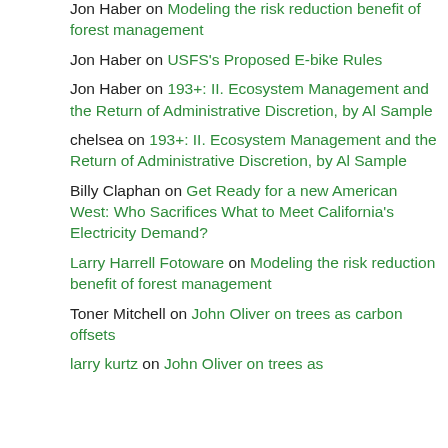Jon Haber on Modeling the risk reduction benefit of forest management
Jon Haber on USFS's Proposed E-bike Rules
Jon Haber on 193+: II. Ecosystem Management and the Return of Administrative Discretion, by Al Sample
chelsea on 193+: II. Ecosystem Management and the Return of Administrative Discretion, by Al Sample
Billy Claphan on Get Ready for a new American West: Who Sacrifices What to Meet California's Electricity Demand?
Larry Harrell Fotoware on Modeling the risk reduction benefit of forest management
Toner Mitchell on John Oliver on trees as carbon offsets
larry kurtz on John Oliver on trees as